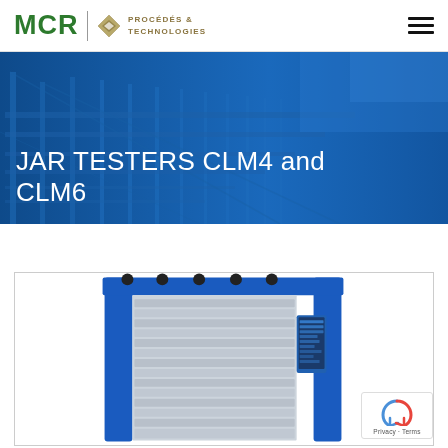MCR | PROCÉDÉS & TECHNOLOGIES
JAR TESTERS CLM4 and CLM6
[Figure (photo): Blue industrial jar tester equipment (CLM4/CLM6) with digital control panel, viewed from the front, partially cropped at bottom]
[Figure (photo): Background hero image: industrial bridge/conveyor structure with blue tint overlay]